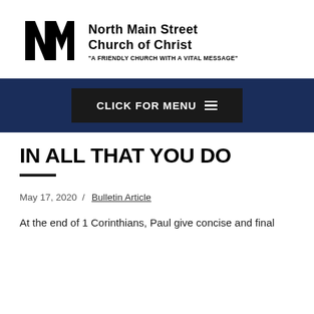[Figure (logo): NM logo mark for North Main Street Church of Christ, with stylized N and M letterforms in black]
NORTH MAIN STREET CHURCH OF CHRIST "A FRIENDLY CHURCH WITH A VITAL MESSAGE"
[Figure (screenshot): Dark navy navigation bar with a black 'CLICK FOR MENU' button with hamburger menu icon]
IN ALL THAT YOU DO
May 17, 2020  /  Bulletin Article
At the end of 1 Corinthians, Paul give concise and final